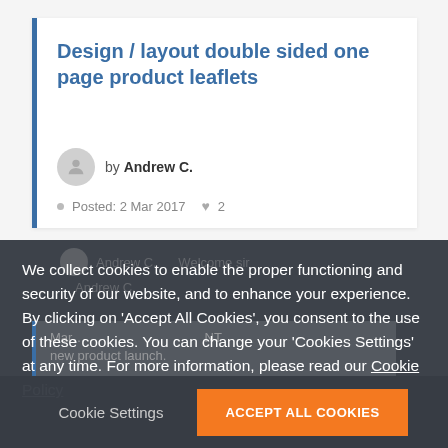Design / layout double sided one page product leaflets
by Andrew C.
Posted: 2 Mar 2017  ♥ 2
We collect cookies to enable the proper functioning and security of our website, and to enhance your experience. By clicking on 'Accept All Cookies', you consent to the use of these cookies. You can change your 'Cookies Settings' at any time. For more information, please read our Cookie Policy